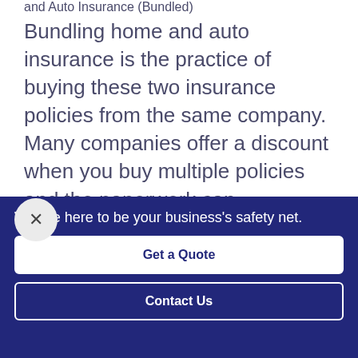and Auto Insurance (Bundled)
Bundling home and auto insurance is the practice of buying these two insurance policies from the same company. Many companies offer a discount when you buy multiple policies and the paperwork can sometimes be easier this way. People often ask us, “Should I bundle my home and auto insurance?” The…
We are here to be your business's safety net.
Get a Quote
Contact Us